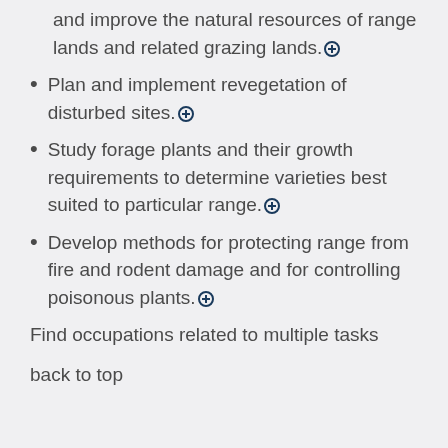and improve the natural resources of range lands and related grazing lands.
Plan and implement revegetation of disturbed sites.
Study forage plants and their growth requirements to determine varieties best suited to particular range.
Develop methods for protecting range from fire and rodent damage and for controlling poisonous plants.
Find occupations related to multiple tasks
back to top